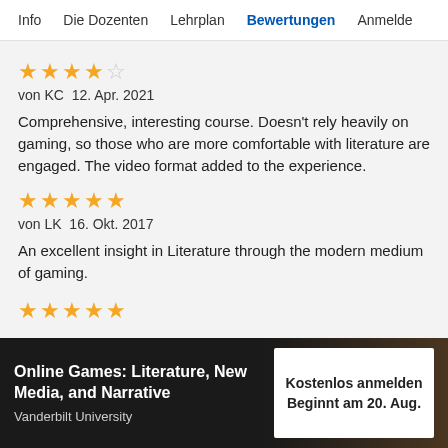Info   Die Dozenten   Lehrplan   Bewertungen   Anmelde
★★★★☆
von KC  12. Apr. 2021
Comprehensive, interesting course. Doesn't rely heavily on gaming, so those who are more comfortable with literature are engaged. The video format added to the experience.
★★★★★
von LK  16. Okt. 2017
An excellent insight in Literature through the modern medium of gaming.
★★★★★
Online Games: Literature, New Media, and Narrative
Vanderbilt University
Kostenlos anmelden
Beginnt am 20. Aug.